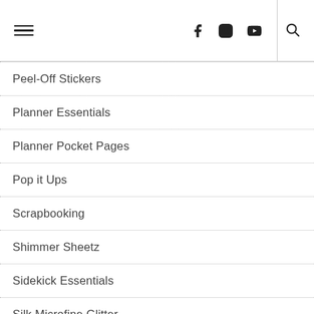navigation header with hamburger menu, social icons (Facebook, Instagram, YouTube), and search
Peel-Off Stickers
Planner Essentials
Planner Pocket Pages
Pop it Ups
Scrapbooking
Shimmer Sheetz
Sidekick Essentials
Silk Microfine Glitter
Soft Finish Cardstock
Stamping
Sue Smith Creative Designs
Summer Journal Special
Summer Journal Special